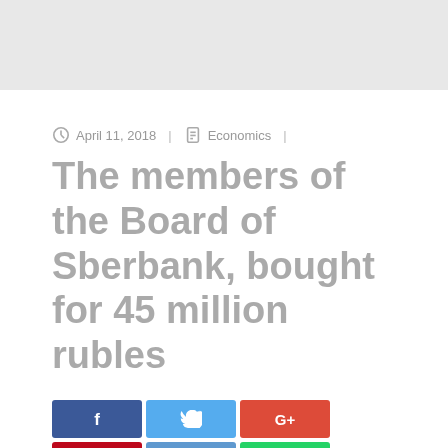April 11, 2018  |  Economics  |
The members of the Board of Sberbank, bought for 45 million rubles
[Figure (other): Social share buttons: Facebook, Twitter, Google+, Pinterest, Reddit, WhatsApp, Share]